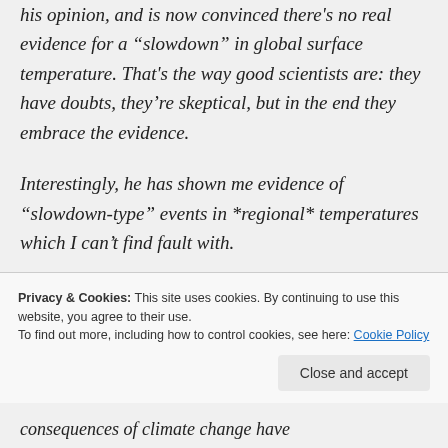his opinion, and is now convinced there's no real evidence for a “slowdown” in global surface temperature. That's the way good scientists are: they have doubts, they’re skeptical, but in the end they embrace the evidence.
Interestingly, he has shown me evidence of “slowdown-type” events in *regional* temperatures which I can’t find fault with.
I suggest his optimism is rooted in reality
Privacy & Cookies: This site uses cookies. By continuing to use this website, you agree to their use.
To find out more, including how to control cookies, see here: Cookie Policy
consequences of climate change have